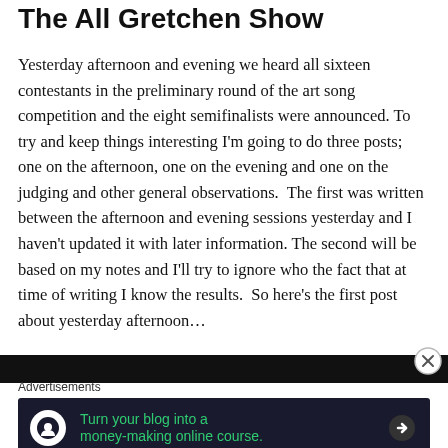The All Gretchen Show
Yesterday afternoon and evening we heard all sixteen contestants in the preliminary round of the art song competition and the eight semifinalists were announced. To try and keep things interesting I'm going to do three posts; one on the afternoon, one on the evening and one on the judging and other general observations. The first was written between the afternoon and evening sessions yesterday and I haven't updated it with later information. The second will be based on my notes and I'll try to ignore who the fact that at time of writing I know the results. So here's the first post about yesterday afternoon…
[Figure (photo): Dark image strip at bottom of article content area]
Advertisements
[Figure (infographic): Advertisement banner: Turn your blog into a money-making online course. Arrow button on right.]